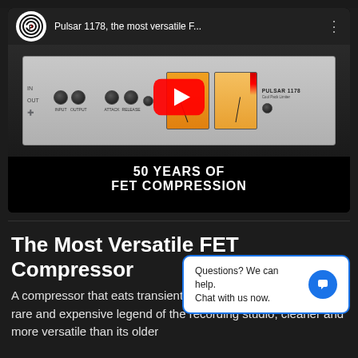[Figure (screenshot): YouTube embedded video player showing Pulsar 1178 FET compressor plugin. Top bar shows Pulsar logo and title 'Pulsar 1178, the most versatile F...'. Thumbnail shows hardware plugin with knobs, VU meters, and a red YouTube play button. Text overlay reads '50 YEARS OF FET COMPRESSION'.]
The Most Versatile FET Compressor
A compressor that eats transients for breakfast, the 1178 is a rare and expensive legend of the recording studio, cleaner and more versatile than its older
Questions? We can help. Chat with us now.